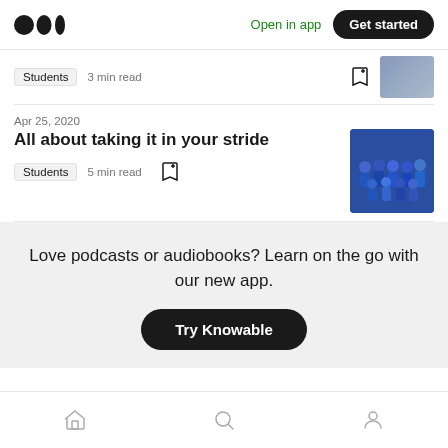Medium logo | Open in app | Get started
Students  3 min read
Apr 25, 2020
All about taking it in your stride
Students  5 min read
Love podcasts or audiobooks? Learn on the go with our new app.
Try Knowable
Home | Search | Profile